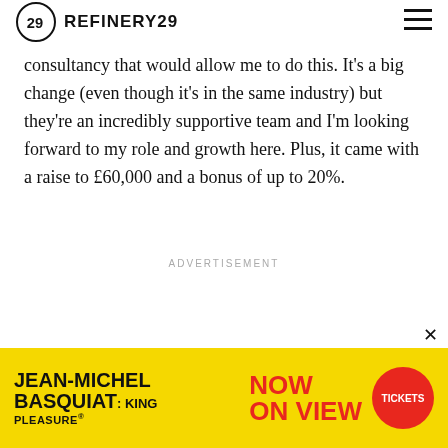REFINERY29
consultancy that would allow me to do this. It's a big change (even though it's in the same industry) but they're an incredibly supportive team and I'm looking forward to my role and growth here. Plus, it came with a raise to £60,000 and a bonus of up to 20%.
ADVERTISEMENT
[Figure (infographic): JEAN-MICHEL BASQUIAT: KING PLEASURE advertisement banner with yellow background, red NOW ON VIEW text, and red TICKETS button circle]